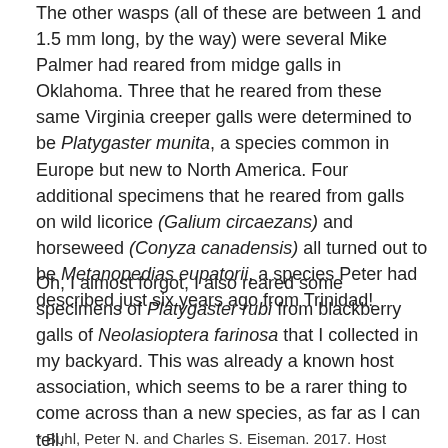The other wasps (all of these are between 1 and 1.5 mm long, by the way) were several Mike Palmer had reared from midge galls in Oklahoma. Three that he reared from these same Virginia creeper galls were determined to be Platygaster munita, a species common in Europe but new to North America. Four additional specimens that he reared from galls on wild licorice (Galium circaezans) and horseweed (Conyza canadensis) all turned out to be Metanopedias eupatorii, a species Peter had described just six years ago from Trinidad!
Oh, I almost forgot, I also reared some specimens of Platygaster rubi from blackberry galls of Neolasioptera farinosa that I collected in my backyard. This was already a known host association, which seems to be a rarer thing to come across than a new species, as far as I can tell.
* Buhl, Peter N. and Charles S. Eiseman. 2017. Host